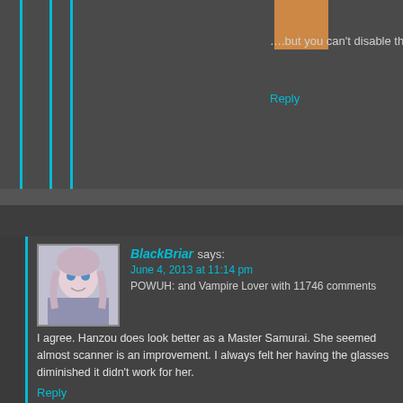....but you can't disable the sinister laughter...really should re
Reply
Jrow says:
June 4, 2013 at 11:00 pm
POWUH: 1000-1099 and Pirate King with 1048 comments
Samurai Bride 09 – This is where I wish episode 5 had been dedicated to one Samurai instead of dumb swimsuit competition. We've dwelled on that ep plenty, them singularly the moment in the spotlight they deserve as, in their own ways
I do like how Hanzo's looks with her attire and face-wide scanner; Matabei's n
Reply
BlackBriar says:
June 4, 2013 at 11:14 pm
POWUH: and Vampire Lover with 11746 comments
I agree. Hanzou does look better as a Master Samurai. She seemed almost scanner is an improvement. I always felt her having the glasses diminished it didn't work for her.
Reply